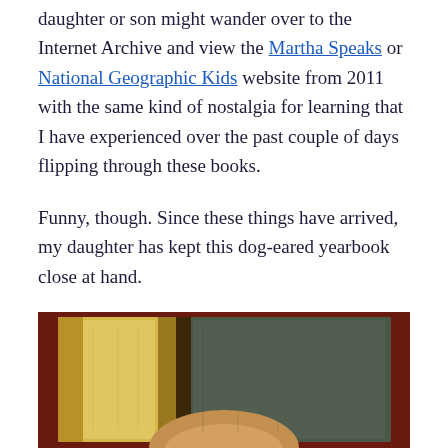daughter or son might wander over to the Internet Archive and view the Martha Speaks or National Geographic Kids website from 2011 with the same kind of nostalgia for learning that I have experienced over the past couple of days flipping through these books.
Funny, though. Since these things have arrived, my daughter has kept this dog-eared yearbook close at hand.
[Figure (photo): A photo of two books/yearbooks lying open or side by side on a dark red/maroon surface. The left book has a yellow/golden cover, the right book has a dark gray-green cover. The bottom of the image hints at a child's face or hands.]